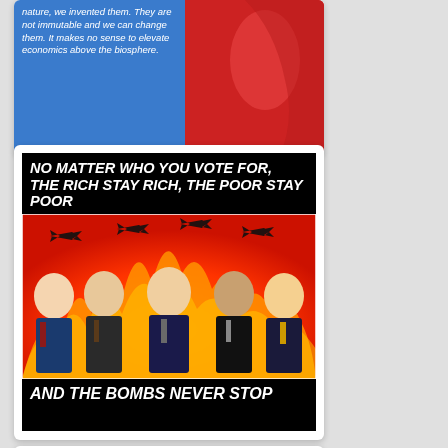[Figure (illustration): Top card (partially visible): Blue background with white italic text quote about economics and the biosphere, alongside a red figure on the right]
[Figure (infographic): Political meme with black background. Top text: 'NO MATTER WHO YOU VOTE FOR, THE RICH STAY RICH, THE POOR STAY POOR'. Middle image shows five presidents (Bush Sr., Clinton, Bush Jr., Obama, Trump) in front of flames with fighter jets flying overhead. Bottom text: 'AND THE BOMBS NEVER STOP']